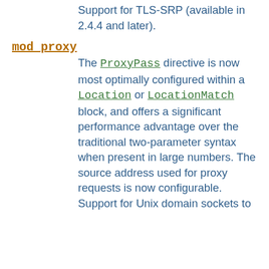Support for TLS-SRP (available in 2.4.4 and later).
mod_proxy
The ProxyPass directive is now most optimally configured within a Location or LocationMatch block, and offers a significant performance advantage over the traditional two-parameter syntax when present in large numbers. The source address used for proxy requests is now configurable. Support for Unix domain sockets to